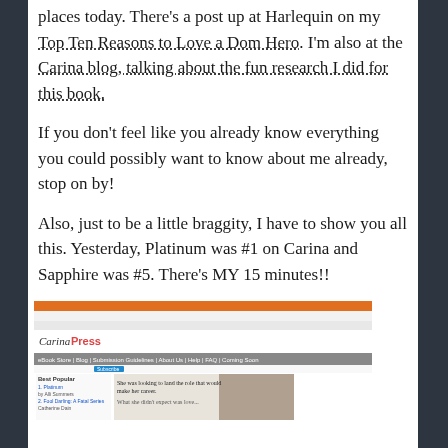places today. There's a post up at Harlequin on my Top Ten Reasons to Love a Dom Hero. I'm also at the Carina blog, talking about the fun research I did for this book.
If you don't feel like you already know everything you could possibly want to know about me already, stop on by!
Also, just to be a little braggity, I have to show you all this. Yesterday, Platinum was #1 on Carina and Sapphire was #5. There's MY 15 minutes!!
[Figure (screenshot): Screenshot of the Carina Press website showing the eBook Store, Blog, Submission Guidelines, About Us, Help, FAQ, Coming Soon navigation. A 'Best Popular' sidebar shows Platinum by Alli Summers as #1. A banner features text 'She was looking to land the role that would make her career. What she didn't expect was love...']